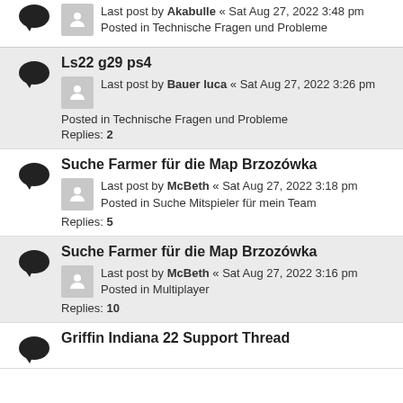Verkaufpunkte — Last post by Akabulle « Sat Aug 27, 2022 3:48 pm — Posted in Technische Fragen und Probleme
Ls22 g29 ps4 — Last post by Bauer luca « Sat Aug 27, 2022 3:26 pm — Posted in Technische Fragen und Probleme — Replies: 2
Suche Farmer für die Map Brzozówka — Last post by McBeth « Sat Aug 27, 2022 3:18 pm — Posted in Suche Mitspieler für mein Team — Replies: 5
Suche Farmer für die Map Brzozówka — Last post by McBeth « Sat Aug 27, 2022 3:16 pm — Posted in Multiplayer — Replies: 10
Griffin Indiana 22 Support Thread — Last post by ...